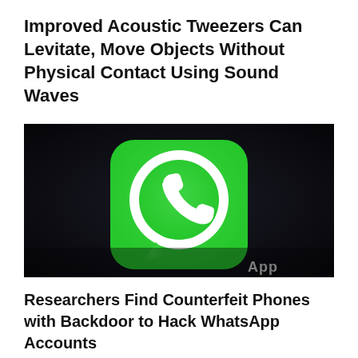Improved Acoustic Tweezers Can Levitate, Move Objects Without Physical Contact Using Sound Waves
[Figure (photo): Close-up photo of a smartphone screen showing the WhatsApp app icon — a green rounded square with a white telephone handset inside a speech bubble. The background is dark/black. The text 'App' is partially visible at the bottom right.]
Researchers Find Counterfeit Phones with Backdoor to Hack WhatsApp Accounts